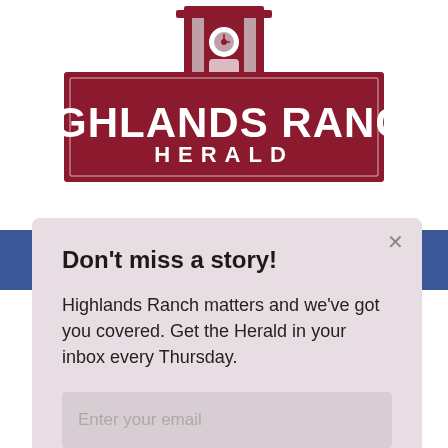[Figure (logo): Highlands Ranch Herald newspaper logo — dark red rectangle with white bold text 'HIGHLANDS RANCH' and smaller 'HERALD' below, with a building/tower icon above]
Don't miss a story!
Highlands Ranch matters and we've got you covered. Get the Herald in your inbox every Thursday.
Enter your email
Sign up